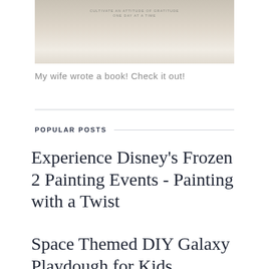[Figure (photo): Hands holding a book/journal with text on the cover, person wearing a beige knit sweater]
My wife wrote a book! Check it out!
POPULAR POSTS
Experience Disney's Frozen 2 Painting Events - Painting with a Twist
Space Themed DIY Galaxy Playdough for Kids